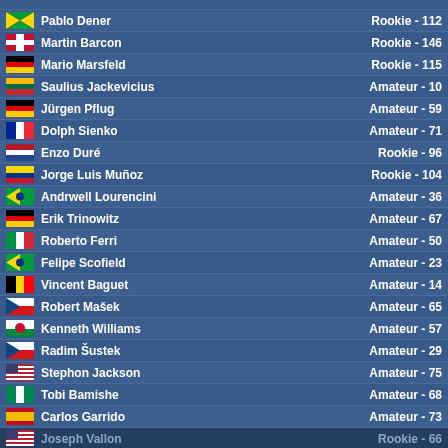| Flag | Player Name | Rating |
| --- | --- | --- |
| Jamaica | Pablo Dener | Rookie - 112 |
| Denmark | Martin Barcon | Rookie - 146 |
| Germany | Mario Marsfeld | Rookie - 115 |
| Lithuania | Saulius Jackevicius | Amateur - 10 |
| Germany | Jürgen Pflug | Amateur - 59 |
| France | Dolph Sienko | Amateur - 71 |
| Netherlands | Enzo Duré | Rookie - 96 |
| Colombia | Jorge Luis Muñoz | Rookie - 104 |
| Brazil | Andrwell Lourencini | Amateur - 36 |
| Germany | Erik Trinowitz | Amateur - 67 |
| Italy | Roberto Ferri | Amateur - 50 |
| Brazil | Felipe Scofield | Amateur - 23 |
| Belgium | Vincent Baguet | Amateur - 14 |
| Czech Republic | Robert Mašek | Amateur - 65 |
| Wales | Kenneth Williams | Amateur - 57 |
| Czech Republic | Radim Šustek | Amateur - 29 |
| USA | Stephon Jackson | Amateur - 75 |
| Nigeria | Tobi Bamishe | Amateur - 68 |
| Spain | Carlos Garrido | Amateur - 73 |
| USA | Joseph Vallon | Rookie - 66 |
| Australia | Aaron Lewis | Rookie - 123 |
| Australia | Eyot Senior | Rookie - 65 |
| Italy | Marco Facchini | Amateur - 24 |
This website uses cookies to ensure you get the best experience. More info
Got it!